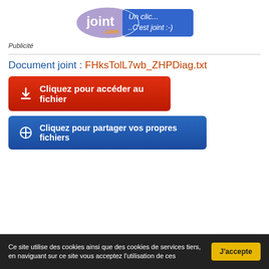[Figure (logo): joint.com logo banner — oval purple/blue background with 'joint' in white bold and '.com' in orange, beside blue rectangle with text 'Un clic... ..C'est joint :-)' in white]
Publicité
Document joint : FHksTolL7wb_ZHPDiag.txt
Cliquez pour accéder au fichier
Cliquez pour partager vos propres fichiers
Ce site utilise des cookies ainsi que des cookies de services tiers, en naviguant sur ce site vous acceptez l'utilisation de ces